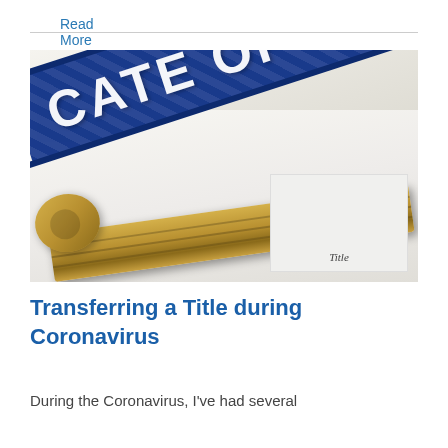Read More ›
[Figure (photo): Close-up photo of a Certificate of Title document with blue decorative text reading 'CATE OF TITLE' diagonally across it, with a gold/brass house key resting on top of the document]
Transferring a Title during Coronavirus
During the Coronavirus, I've had several